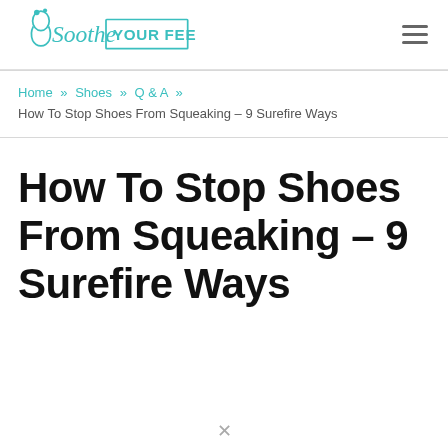Soothe YOUR FEET [logo] [hamburger menu]
Home » Shoes » Q & A » How To Stop Shoes From Squeaking – 9 Surefire Ways
How To Stop Shoes From Squeaking – 9 Surefire Ways